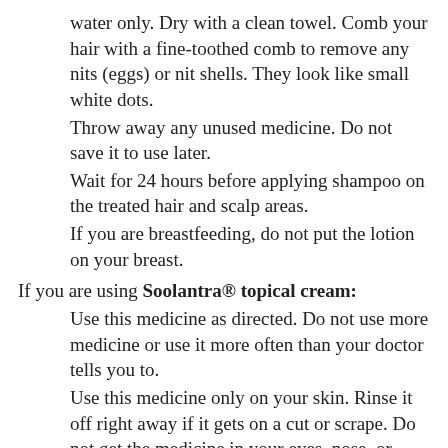water only. Dry with a clean towel. Comb your hair with a fine-toothed comb to remove any nits (eggs) or nit shells. They look like small white dots.
Throw away any unused medicine. Do not save it to use later.
Wait for 24 hours before applying shampoo on the treated hair and scalp areas.
If you are breastfeeding, do not put the lotion on your breast.
If you are using Soolantra® topical cream:
Use this medicine as directed. Do not use more medicine or use it more often than your doctor tells you to.
Use this medicine only on your skin. Rinse it off right away if it gets on a cut or scrape. Do not get the medicine in your eyes, nose, or mouth.
Use a pea-sized amount for each area of the face that is affected. Spread a thin layer. Avoid your eyes and lips.
Missed dose: Apply a dose as soon as you